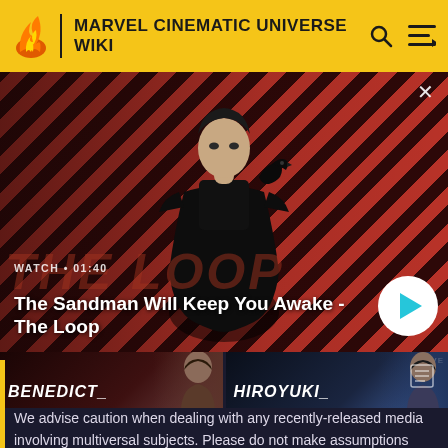MARVEL CINEMATIC UNIVERSE WIKI
[Figure (screenshot): Video banner showing a pale man in black with a raven on his shoulder against a red diagonal stripe background. Title reads The Sandman Will Keep You Awake - The Loop. Watch duration 01:40. Play button visible.]
[Figure (photo): Person card showing BENEDICT_ text over a partial celebrity photo]
[Figure (photo): Person card showing HIROYUKI text over a partial celebrity photo]
We advise caution when dealing with any recently-released media involving multiversal subjects. Please do not make assumptions regarding confusing wording, other sites' speculation, and people's headcanon around the internet.